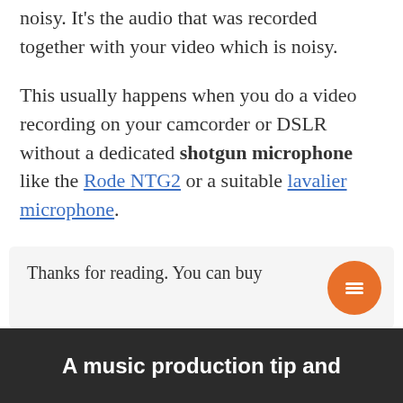noisy. It's the audio that was recorded together with your video which is noisy.
This usually happens when you do a video recording on your camcorder or DSLR without a dedicated shotgun microphone like the Rode NTG2 or a suitable lavalier microphone.
Thanks for reading. You can buy
A music production tip and